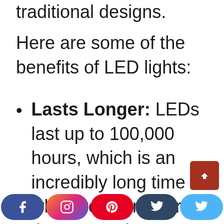traditional designs.
Here are some of the benefits of LED lights:
Lasts Longer: LEDs last up to 100,000 hours, which is an incredibly long time when you consider that most oth...